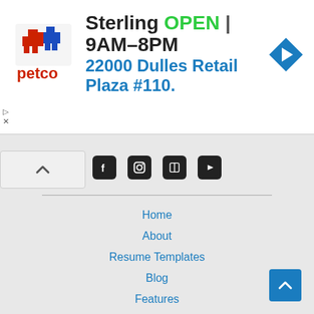[Figure (screenshot): Petco ad banner showing logo, Sterling OPEN 9AM-8PM, address 22000 Dulles Retail Plaza #110, and a blue navigation arrow icon]
[Figure (other): Social media icons row: Facebook, Instagram, Pinterest, YouTube]
Home
About
Resume Templates
Blog
Features
FAQ's
License
Privacy
Terms
Contact
Shopping Cart